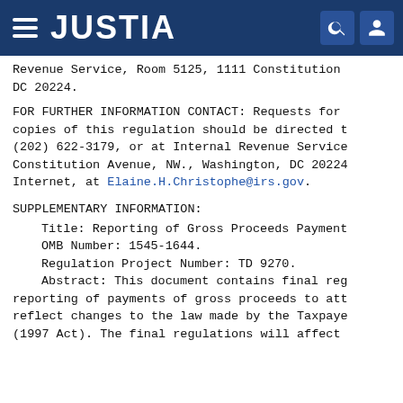JUSTIA
Revenue Service, Room 5125, 1111 Constitution DC 20224.
FOR FURTHER INFORMATION CONTACT: Requests for copies of this regulation should be directed to (202) 622-3179, or at Internal Revenue Service, Constitution Avenue, NW., Washington, DC 20224, Internet, at Elaine.H.Christophe@irs.gov.
SUPPLEMENTARY INFORMATION:
Title: Reporting of Gross Proceeds Payment
OMB Number: 1545-1644.
Regulation Project Number: TD 9270.
Abstract: This document contains final reg reporting of payments of gross proceeds to att reflect changes to the law made by the Taxpaye (1997 Act). The final regulations will affect